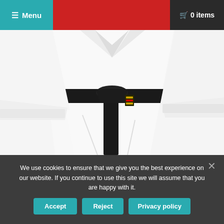≡ Menu   🛒 0 items
[Figure (photo): Person wearing a white karate gi (uniform) with a black belt tied around the waist. The image shows the torso and lower body of the person with a small emblem/patch visible on the belt.]
We use cookies to ensure that we give you the best experience on our website. If you continue to use this site we will assume that you are happy with it.
Accept   Reject   Privacy policy